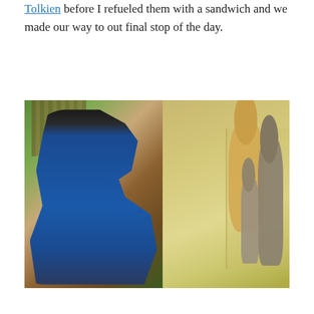Tolkien before I refueled them with a sandwich and we made our way to out final stop of the day.
[Figure (photo): A young boy in a blue jacket looking at a museum display case containing stuffed animal toys including Winnie the Pooh bear and Kanga characters, in a library setting.]